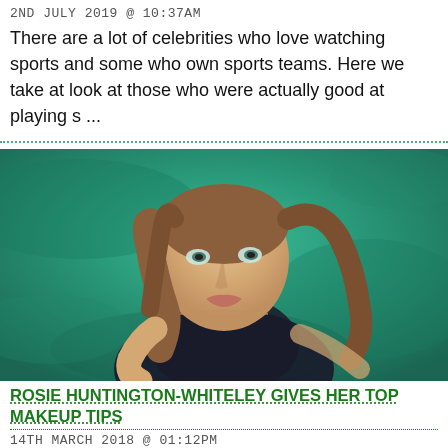2ND JULY 2019 @ 10:37AM
There are a lot of celebrities who love watching sports and some who own sports teams. Here we take at look at those who were actually good at playing s ...
[Figure (photo): A woman with long hair posing in water with a teal/green background, wearing a dark top, looking at the camera]
ROSIE HUNTINGTON-WHITELEY GIVES HER TOP MAKEUP TIPS
14TH MARCH 2018 @ 01:12PM
Rosie Huntington-Whiteley shared her top beauty...